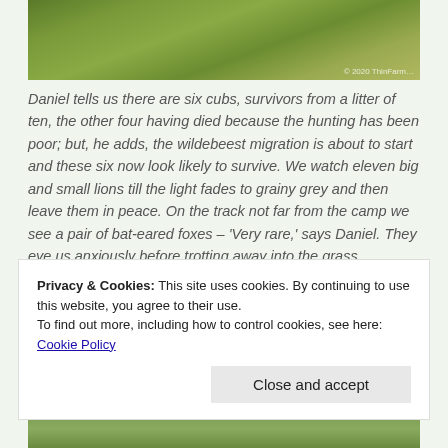[Figure (photo): Photograph of green grass and vegetation, partially visible at top of page. Watermark text visible in bottom right corner.]
Daniel tells us there are six cubs, survivors from a litter of ten, the other four having died because the hunting has been poor; but, he adds, the wildebeest migration is about to start and these six now look likely to survive. We watch eleven big and small lions till the light fades to grainy grey and then leave them in peace. On the track not far from the camp we see a pair of bat-eared foxes – 'Very rare,' says Daniel. They eye us anxiously before trotting away into the grass.
[Figure (photo): Photograph of grass and open terrain, partially visible in the middle of the page.]
Privacy & Cookies: This site uses cookies. By continuing to use this website, you agree to their use.
To find out more, including how to control cookies, see here: Cookie Policy
[Figure (photo): Photograph of grass partially visible at the bottom of the page.]